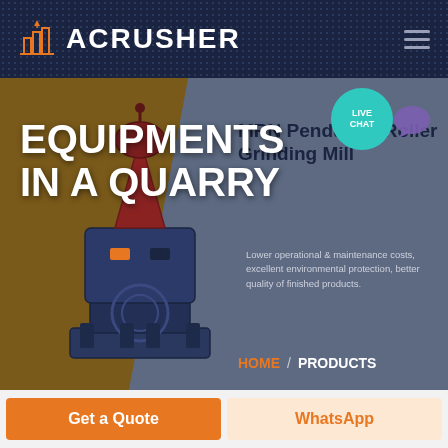[Figure (logo): ACRUSHER logo with orange building icon and white bold text on dark navy navigation bar with hamburger menu icon]
[Figure (screenshot): Hero banner showing a large industrial grinding mill machine on brownish-golden left background transitioning to blue-grey right background, with LIVE CHAT teal bubble and chat icon in top right]
EQUIPMENTS IN A QUARRY
MRN Pendulum Roller Grinding Mill
Lower operational & maintenance costs, excellent environmental protection, better quality of finished products.
HOME / PRODUCTS
[Figure (other): Two bottom CTA buttons: orange 'Get a Quote' button on the left and light orange 'WhatsApp' button on the right]